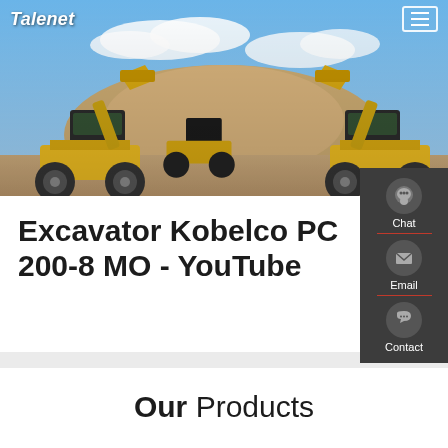Talenet
[Figure (photo): Hero image showing two large yellow wheel loaders facing each other with raised buckets against a blue sky and sandy mound background]
[Figure (screenshot): Sidebar widget panel with dark grey background showing Chat icon (headset), Email icon (envelope), and Contact icon (speech bubble with dots), separated by red divider lines]
Excavator Kobelco PC 200-8 MO - YouTube
Our Products